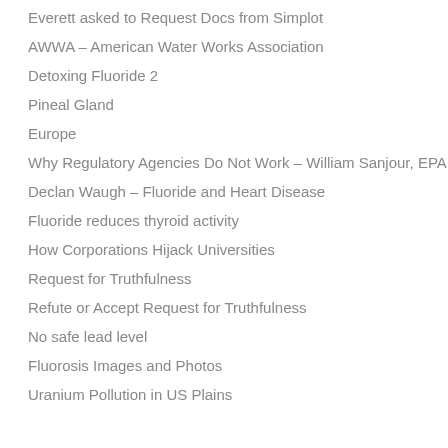Everett asked to Request Docs from Simplot
AWWA – American Water Works Association
Detoxing Fluoride 2
Pineal Gland
Europe
Why Regulatory Agencies Do Not Work – William Sanjour, EPA
Declan Waugh – Fluoride and Heart Disease
Fluoride reduces thyroid activity
How Corporations Hijack Universities
Request for Truthfulness
Refute or Accept Request for Truthfulness
No safe lead level
Fluorosis Images and Photos
Uranium Pollution in US Plains